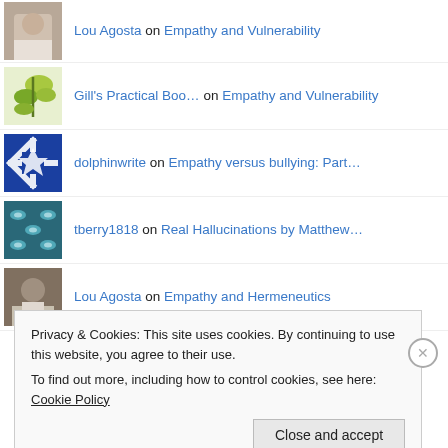Lou Agosta on Empathy and Vulnerability
Gill's Practical Boo… on Empathy and Vulnerability
dolphinwrite on Empathy versus bullying: Part…
tberry1818 on Real Hallucinations by Matthew…
Lou Agosta on Empathy and Hermeneutics
Privacy & Cookies: This site uses cookies. By continuing to use this website, you agree to their use. To find out more, including how to control cookies, see here: Cookie Policy
Close and accept